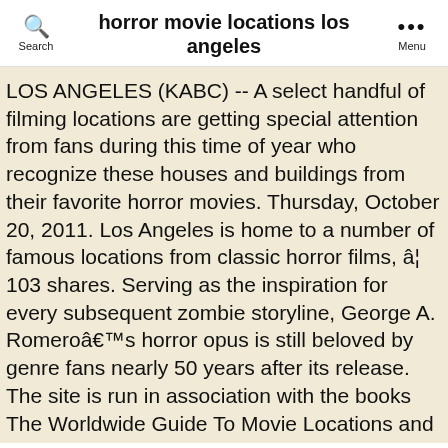horror movie locations los angeles
LOS ANGELES (KABC) -- A select handful of filming locations are getting special attention from fans during this time of year who recognize these houses and buildings from their favorite horror movies. Thursday, October 20, 2011. Los Angeles is home to a number of famous locations from classic horror films, â¦ 103 shares. Serving as the inspiration for every subsequent zombie storyline, George A. Romeroâs horror opus is still beloved by genre fans nearly 50 years after its release. The site is run in association with the books The Worldwide Guide To Movie Locations and Movie London. Next time you’re in LA, check out some of these film locations for FREE! Many horror locales from that time period remain unchanged today, still possessing the power to give those in the know a good spook. Where âAmerican Horror Storyâ was filmed in Los Angeles, New Orleans, and Roanoke, and where you can visit the filming locations.